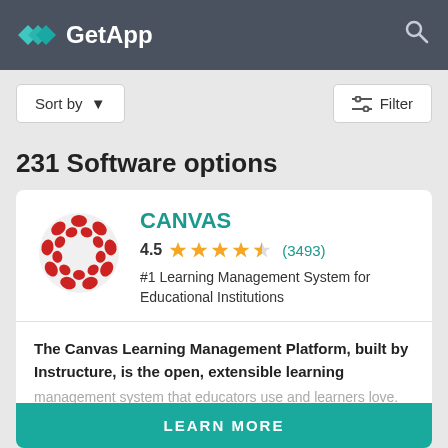GetApp
Sort by
Filter
231 Software options
CANVAS
4.5 ★★★★½ (3493)
#1 Learning Management System for Educational Institutions
The Canvas Learning Management Platform, built by Instructure, is the open, extensible learning management system that educators use and learners love. Read more about CANVAS
LEARN MORE